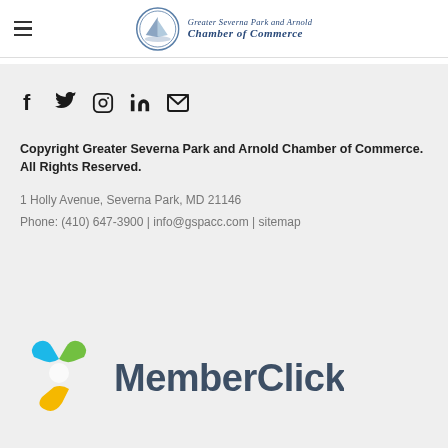Greater Severna Park and Arnold Chamber of Commerce
[Figure (logo): Social media icons: Facebook, Twitter, Instagram, LinkedIn, Email]
Copyright Greater Severna Park and Arnold Chamber of Commerce. All Rights Reserved.
1 Holly Avenue, Severna Park, MD 21146
Phone: (410) 647-3900 | info@gspacc.com | sitemap
[Figure (logo): MemberClicks logo with colorful shield icon and bold dark text]